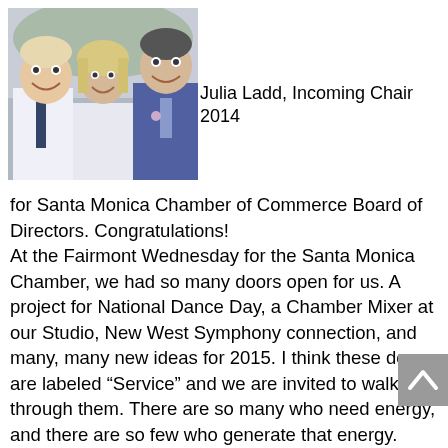[Figure (photo): Group photo of three people smiling — two men in suits with ties and a woman in a white top, outdoor setting]
Julia Ladd, Incoming Chair 2014
for Santa Monica Chamber of Commerce Board of Directors. Congratulations!
At the Fairmont Wednesday for the Santa Monica Chamber, we had so many doors open for us. A project for National Dance Day, a Chamber Mixer at our Studio, New West Symphony connection, and many, many new ideas for 2015. I think these doors are labeled “Service” and we are invited to walk through them. There are so many who need energy, and there are so few who generate that energy. Thank you to Santa Monica Chamber for being the power suppliers in motivating so many people.
For unto whomsoever much is given, of him shall be much
[Figure (other): Grey scroll-to-top button with upward arrow chevron]